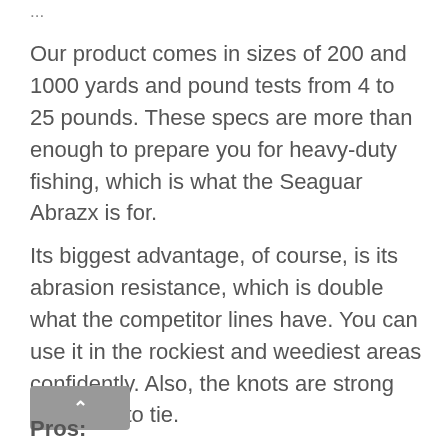...
Our product comes in sizes of 200 and 1000 yards and pound tests from 4 to 25 pounds. These specs are more than enough to prepare you for heavy-duty fishing, which is what the Seaguar Abrazx is for.
Its biggest advantage, of course, is its abrasion resistance, which is double what the competitor lines have. You can use it in the rockiest and weediest areas confidently. Also, the knots are strong and easy to tie.
Pros: